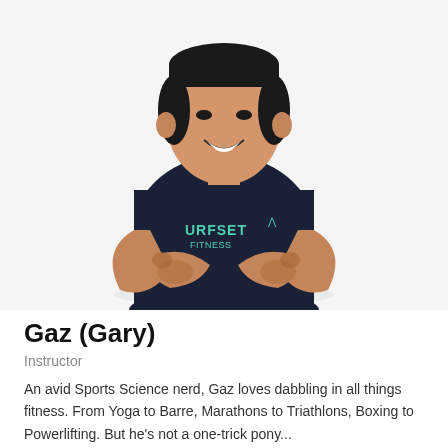[Figure (photo): A smiling young Asian man with crossed arms, wearing a dark navy SURFSET Fitness t-shirt with Under Armour logo, with tattoos on both forearms, posed against a white background.]
Gaz (Gary)
Instructor
An avid Sports Science nerd, Gaz loves dabbling in all things fitness. From Yoga to Barre, Marathons to Triathlons, Boxing to Powerlifting. But he's not a one-trick pony...